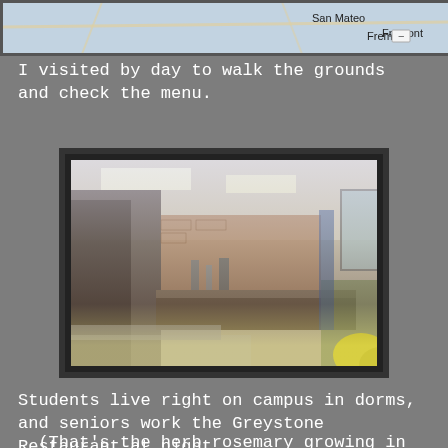[Figure (map): Partial map showing San Mateo and Fremont area]
I visited by day to walk the grounds and check the menu.
[Figure (photo): Interior photo of a culinary school kitchen/restaurant space with countertops, equipment, brick walls, and lemons in foreground]
Students live right on campus in dorms, and seniors work the Greystone Restaurant at night.
(That's the herb rosemary growing in